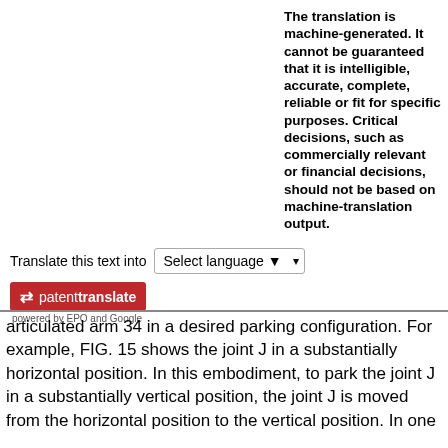The translation is machine-generated. It cannot be guaranteed that it is intelligible, accurate, complete, reliable or fit for specific purposes. Critical decisions, such as commercially relevant or financial decisions, should not be based on machine-translation output.
Translate this text into  Select language
[Figure (logo): Patent Translate badge logo — red rectangle with white arrows and text 'patenttranslate', subtext 'powered by EPO and Google']
articulated arm 34 in a desired parking configuration. For example, FIG. 15 shows the joint J in a substantially horizontal position. In this embodiment, to park the joint J in a substantially vertical position, the joint J is moved from the horizontal position to the vertical position. In one